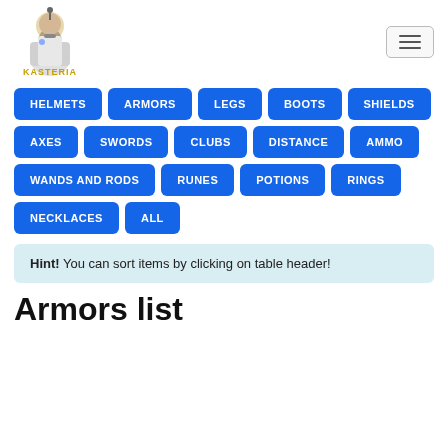[Figure (logo): Kasteria wizard logo with robed figure holding a staff, with 'KASTERIA' text in gold below]
HELMETS
ARMORS
LEGS
BOOTS
SHIELDS
AXES
SWORDS
CLUBS
DISTANCE
AMMO
WANDS AND RODS
RUNES
POTIONS
RINGS
NECKLACES
ALL
Hint! You can sort items by clicking on table header!
Armors list